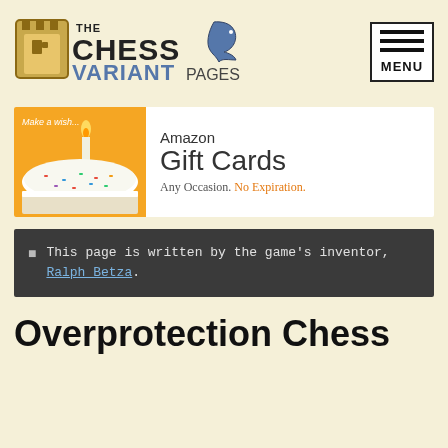[Figure (logo): The Chess Variant Pages logo with a rook and knight chess piece silhouette]
[Figure (other): Menu button with three horizontal bars and MENU label]
[Figure (other): Amazon Gift Cards advertisement banner showing a birthday cake candle on orange background with text: Amazon Gift Cards, Any Occasion. No Expiration.]
This page is written by the game's inventor, Ralph Betza.
Overprotection Chess